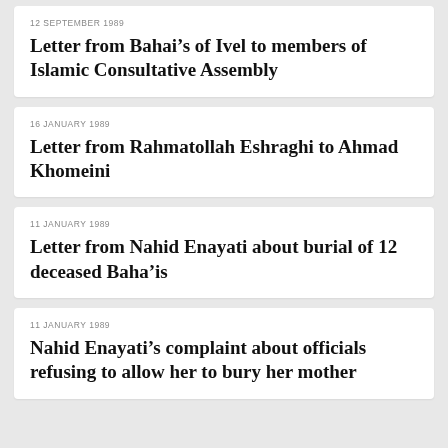12 SEPTEMBER 1989
Letter from Bahai’s of Ivel to members of Islamic Consultative Assembly
16 JANUARY 1989
Letter from Rahmatollah Eshraghi to Ahmad Khomeini
11 JANUARY 1989
Letter from Nahid Enayati about burial of 12 deceased Baha’is
11 JANUARY 1989
Nahid Enayati’s complaint about officials refusing to allow her to bury her mother